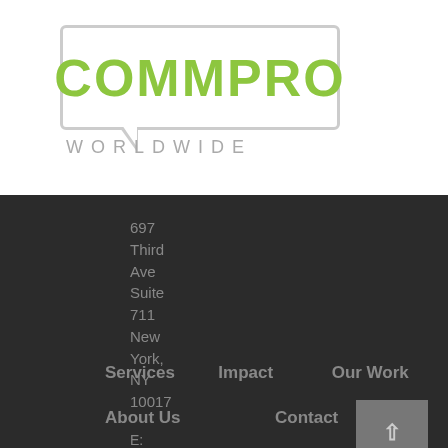[Figure (logo): COMMPRO WORLDWIDE logo — green bold text 'COMMPRO' inside a speech bubble rectangle outline, with 'WORLDWIDE' in grey below]
697
Third
Ave
Suite
711
New
York,
NY
10017
Services
Impact
Our Work
About Us
Contact
E:
support@commpro.com
O: